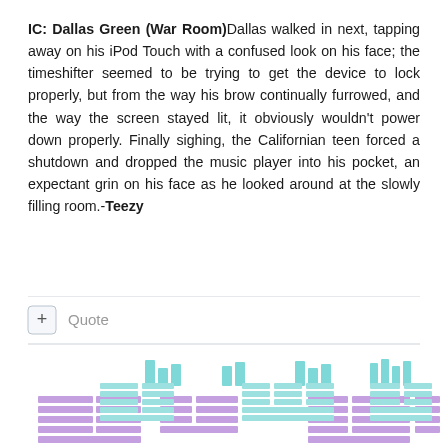IC: Dallas Green (War Room) Dallas walked in next, tapping away on his iPod Touch with a confused look on his face; the timeshifter seemed to be trying to get the device to lock properly, but from the way his brow continually furrowed, and the way the screen stayed lit, it obviously wouldn't power down properly. Finally sighing, the Californian teen forced a shutdown and dropped the music player into his pocket, an expectant grin on his face as he looked around at the slowly filling room.-Teezy
[Figure (other): UI element with a plus button labeled 'Quote', separator lines above and below, followed by a navigation/grid area showing colored placeholder blocks in purple and teal/cyan arranged in rows.]